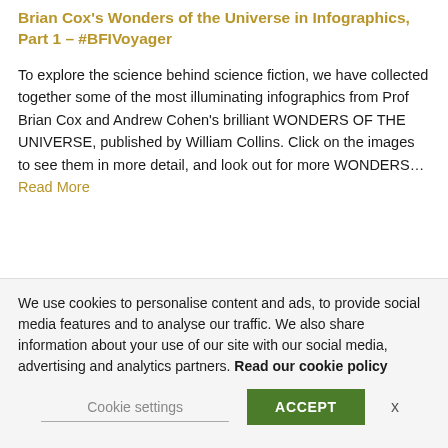Brian Cox's Wonders of the Universe in Infographics, Part 1 – #BFIVoyager
To explore the science behind science fiction, we have collected together some of the most illuminating infographics from Prof Brian Cox and Andrew Cohen's brilliant WONDERS OF THE UNIVERSE, published by William Collins. Click on the images to see them in more detail, and look out for more WONDERS… Read More
We use cookies to personalise content and ads, to provide social media features and to analyse our traffic. We also share information about your use of our site with our social media, advertising and analytics partners. Read our cookie policy